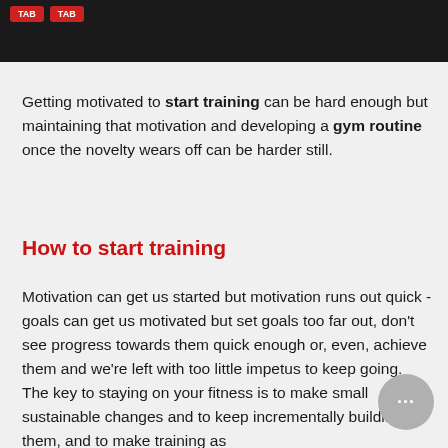Getting motivated to start training can be hard enough but maintaining that motivation and developing a gym routine once the novelty wears off can be harder still.
How to start training
Motivation can get us started but motivation runs out quick - goals can get us motivated but set goals too far out, don't see progress towards them quick enough or, even, achieve them and we're left with too little impetus to keep going. The key to staying on your fitness is to make small sustainable changes and to keep incrementally building on them, and to make training as